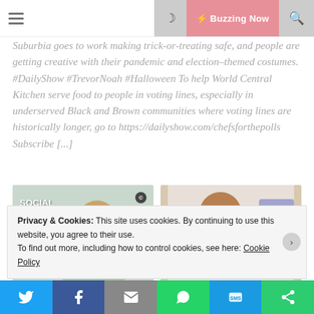Buzzing Now
Suburbia goes to work making trick-or-treating safe, and people are getting creative with their pandemic and election-themed costumes. #DailyShow #TrevorNoah #Halloween To help World Central Kitchen serve food to people in voting lines, especially in underserved Black and Brown communities where voting lines are historically longer, go to https://dailyshow.com/chefsforthepolls Subscribe [...]
[Figure (photo): Thumbnail showing social distancing costume with Comedy Central logo]
[Figure (photo): Thumbnail showing animated face with surprised expression]
Privacy & Cookies: This site uses cookies. By continuing to use this website, you agree to their use. To find out more, including how to control cookies, see here: Cookie Policy